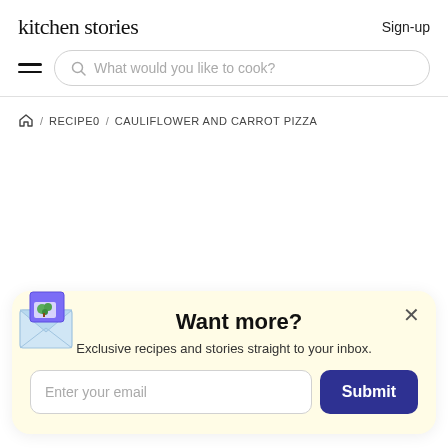kitchen stories
Sign-up
What would you like to cook?
/ RECIPE0 / CAULIFLOWER AND CARROT PIZZA
Want more?
Exclusive recipes and stories straight to your inbox.
Enter your email
Submit